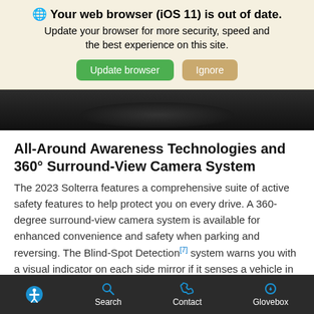🌐 Your web browser (iOS 11) is out of date. Update your browser for more security, speed and the best experience on this site.
[Figure (screenshot): Dark car interior image strip showing seat/dashboard area]
All-Around Awareness Technologies and 360° Surround-View Camera System
The 2023 Solterra features a comprehensive suite of active safety features to help protect you on every drive. A 360-degree surround-view camera system is available for enhanced convenience and safety when parking and reversing. The Blind-Spot Detection[7] system warns you with a visual indicator on each side mirror if it senses a vehicle in your blind spots. Rear Cross-Traffic Alert[7] helps warn you of traffic approaching from the side as you back up. And with Reverse Automatic Braking, the Solterra can even sto
Accessibility | Search | Contact | Glovebox